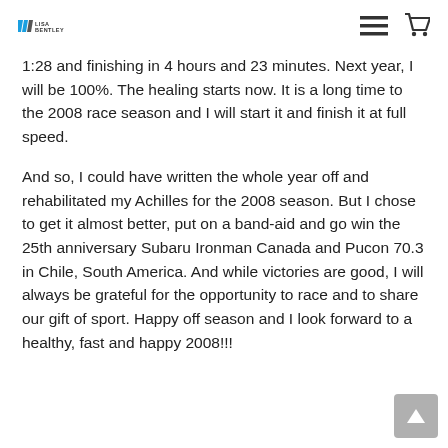Lisa Bentley logo with hamburger menu and cart icon
1:28 and finishing in 4 hours and 23 minutes. Next year, I will be 100%. The healing starts now. It is a long time to the 2008 race season and I will start it and finish it at full speed.
And so, I could have written the whole year off and rehabilitated my Achilles for the 2008 season. But I chose to get it almost better, put on a band-aid and go win the 25th anniversary Subaru Ironman Canada and Pucon 70.3 in Chile, South America. And while victories are good, I will always be grateful for the opportunity to race and to share our gift of sport. Happy off season and I look forward to a healthy, fast and happy 2008!!!